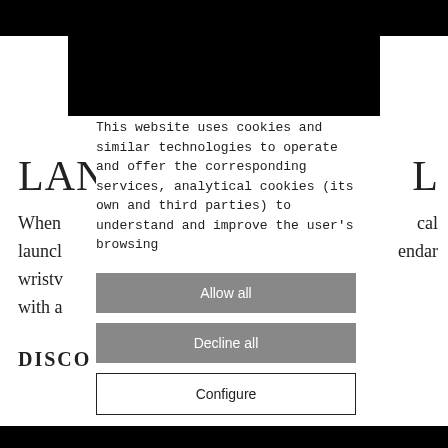[Figure (screenshot): Black header/banner image at top of page]
LAN
L
When launcl wristv with a
cal endar
DISCO
This website uses cookies and similar technologies to operate and offer the corresponding services, analytical cookies (its own and third parties) to understand and improve the user's browsing
Allow all
Decline all
Configure